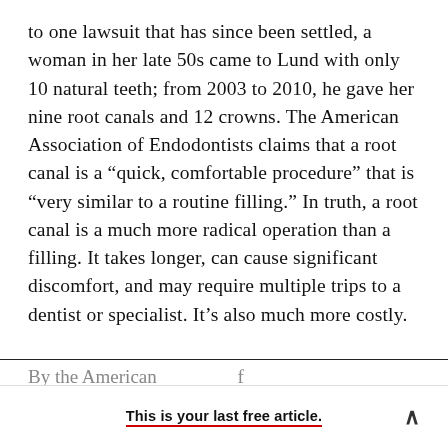to one lawsuit that has since been settled, a woman in her late 50s came to Lund with only 10 natural teeth; from 2003 to 2010, he gave her nine root canals and 12 crowns. The American Association of Endodontists claims that a root canal is a “quick, comfortable procedure” that is “very similar to a routine filling.” In truth, a root canal is a much more radical operation than a filling. It takes longer, can cause significant discomfort, and may require multiple trips to a dentist or specialist. It’s also much more costly.
By the American...
This is your last free article.